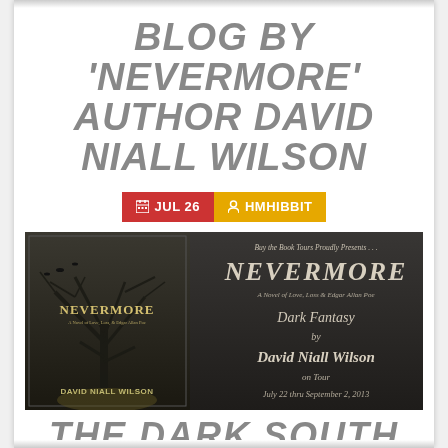BLOG BY 'NEVERMORE' AUTHOR DAVID NIALL WILSON
JUL 26  HMHIBBIT
[Figure (illustration): Book tour banner for 'Nevermore: A Novel of Love, Loss & Edgar Allan Poe' by David Niall Wilson. Left half shows the book cover with a bare tree and ravens against a dark sky with the title NEVERMORE and author name David Niall Wilson. Right half shows 'Buy the Book Tours Proudly Presents... NEVERMORE A Novel of Love, Loss & Edgar Allan Poe — Dark Fantasy by David Niall Wilson on Tour July 22 thru September 2, 2013' on a dark moody background.]
THE DARK SOUTH